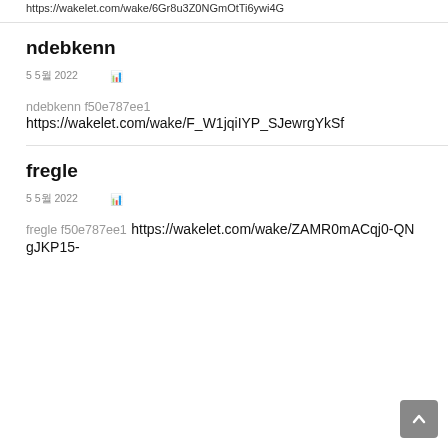https://wakelet.com/wake/6Gr8u3Z0NGmOtTi6ywi4G
ndebkenn
5 5월 2022   📊
ndebkenn f50e787ee1
https://wakelet.com/wake/F_W1jqiIYP_SJewrgYkSf
fregle
5 5월 2022   📊
fregle f50e787ee1 https://wakelet.com/wake/ZAMR0mACqj0-QNgJKP15-